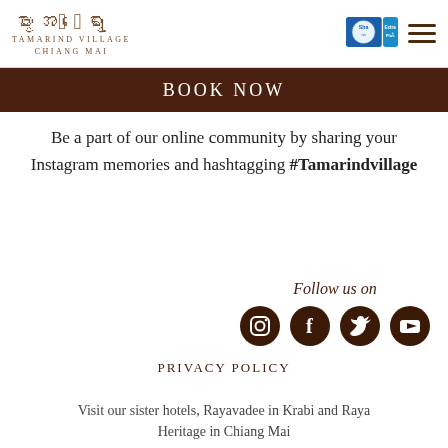[Figure (logo): Tamarind Village Chiang Mai logo with Thai script and English text]
[Figure (logo): SHA Extra Plus certification badge]
BOOK NOW
Be a part of our online community by sharing your Instagram memories and hashtagging #Tamarindvillage
Follow us on
[Figure (infographic): Social media icons: Instagram, Facebook, Twitter, YouTube]
PRIVACY POLICY
Visit our sister hotels, Rayavadee in Krabi and Raya Heritage in Chiang Mai